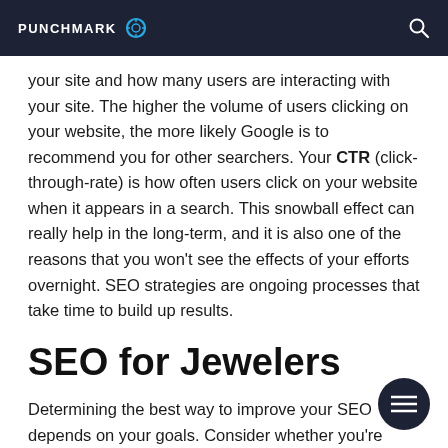PUNCHMARK
your site and how many users are interacting with your site. The higher the volume of users clicking on your website, the more likely Google is to recommend you for other searchers. Your CTR (click-through-rate) is how often users click on your website when it appears in a search. This snowball effect can really help in the long-term, and it is also one of the reasons that you won't see the effects of your efforts overnight. SEO strategies are ongoing processes that take time to build up results.
SEO for Jewelers
Determining the best way to improve your SEO depends on your goals. Consider whether you're trying